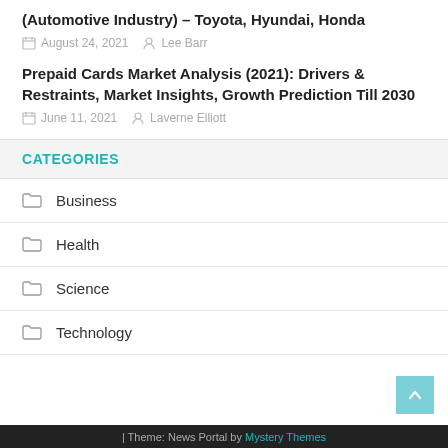(Automotive Industry) – Toyota, Hyundai, Honda
August 24, 2021   Lee Barr
Prepaid Cards Market Analysis (2021): Drivers & Restraints, Market Insights, Growth Prediction Till 2030
June 11, 2021   Laverne Elliott
CATEGORIES
Business
Health
Science
Technology
| Theme: News Portal by Mystery Themes